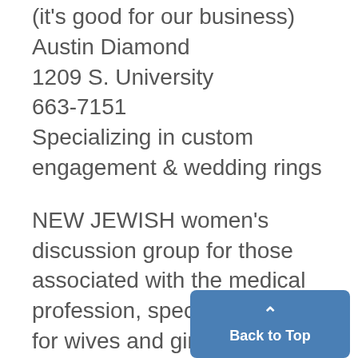(it's good for our business)
Austin Diamond
1209 S. University
663-7151
Specializing in custom engagement & wedding rings
NEW JEWISH women's discussion group for those associated with the medical profession, specifically for wives and girlfriends of medical students and houseofficers now forming thro...